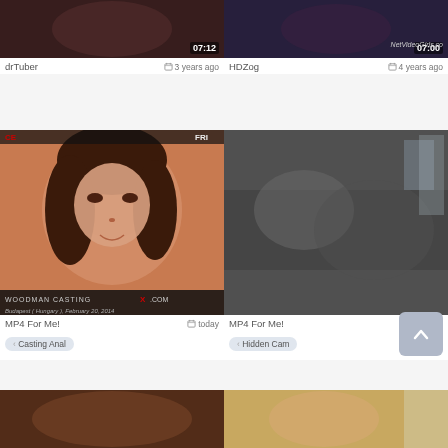[Figure (screenshot): Video thumbnail row 1 left with duration 07:12, site drTuber, 3 years ago]
[Figure (screenshot): Video thumbnail row 1 right with duration 07:00, NetVideoGirls watermark, site HDZog, 4 years ago]
[Figure (screenshot): Video thumbnail row 2 left, WoodmanCastingX label, Budapest Hungary February 20 2014, site MP4 For Me!, today, tag Casting Anal]
[Figure (screenshot): Video thumbnail row 2 right, hidden cam style, site MP4 For Me!, today, tag Hidden Cam]
[Figure (screenshot): Video thumbnail row 3 left, partial view]
[Figure (screenshot): Video thumbnail row 3 right, partial view]